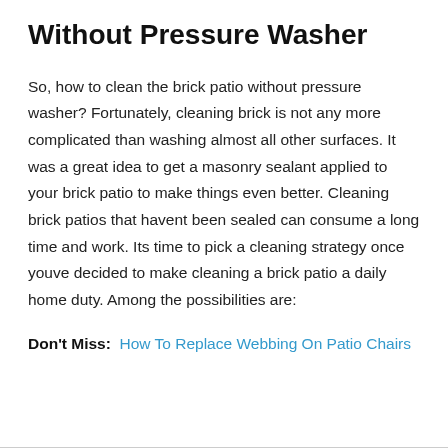Without Pressure Washer
So, how to clean the brick patio without pressure washer? Fortunately, cleaning brick is not any more complicated than washing almost all other surfaces. It was a great idea to get a masonry sealant applied to your brick patio to make things even better. Cleaning brick patios that havent been sealed can consume a long time and work. Its time to pick a cleaning strategy once youve decided to make cleaning a brick patio a daily home duty. Among the possibilities are:
Don't Miss:  How To Replace Webbing On Patio Chairs